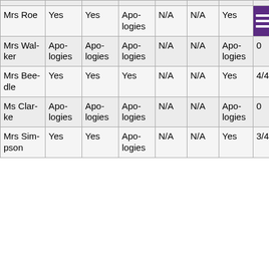| Mrs Roe | Yes | Yes | Apologies | N/A | N/A | Yes | ☰ |
| Mrs Walker | Apologies | Apologies | Apologies | N/A | N/A | Apologies | 0 |
| Mrs Beedle | Yes | Yes | Yes | N/A | N/A | Yes | 4/4 |
| Ms Clarke | Apologies | Apologies | Apologies | N/A | N/A | Apologies | 0 |
| Mrs Simpson | Yes | Yes | Apologies | N/A | N/A | Yes | 3/4 |